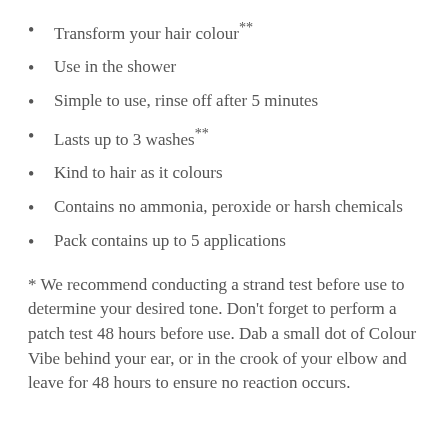Transform your hair colour**
Use in the shower
Simple to use, rinse off after 5 minutes
Lasts up to 3 washes**
Kind to hair as it colours
Contains no ammonia, peroxide or harsh chemicals
Pack contains up to 5 applications
* We recommend conducting a strand test before use to determine your desired tone. Don't forget to perform a patch test 48 hours before use. Dab a small dot of Colour Vibe behind your ear, or in the crook of your elbow and leave for 48 hours to ensure no reaction occurs.